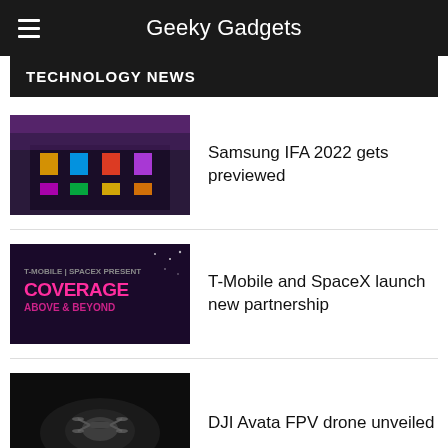Geeky Gadgets
TECHNOLOGY NEWS
Samsung IFA 2022 gets previewed
T-Mobile and SpaceX launch new partnership
DJI Avata FPV drone unveiled
Samsung Odyssey Ark shown off at